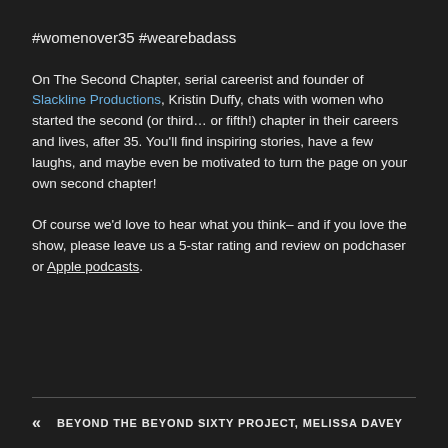#womenover35 #wearebadass
On The Second Chapter, serial careerist and founder of Slackline Productions, Kristin Duffy, chats with women who started the second (or third… or fifth!) chapter in their careers and lives, after 35. You'll find inspiring stories, have a few laughs, and maybe even be motivated to turn the page on your own second chapter!
Of course we'd love to hear what you think– and if you love the show, please leave us a 5-star rating and review on podchaser or Apple podcasts.
« BEYOND THE BEYOND SIXTY PROJECT, MELISSA DAVEY